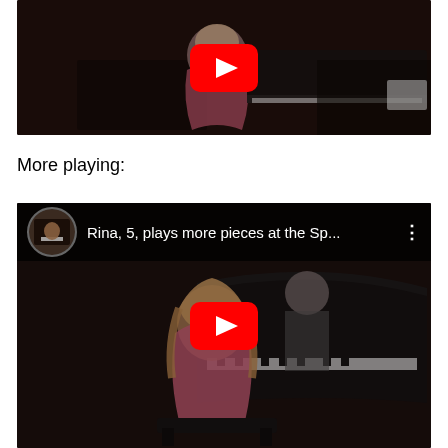[Figure (screenshot): YouTube video thumbnail showing a young girl in a pink floral dress playing piano, with a red YouTube play button overlay on a dark background.]
More playing:
[Figure (screenshot): YouTube video embed with title 'Rina, 5, plays more pieces at the Sp...' showing a young girl in a pink floral dress playing a grand piano, teacher visible behind her, with a red YouTube play button overlay. A circular video thumbnail is visible in the top-left corner.]